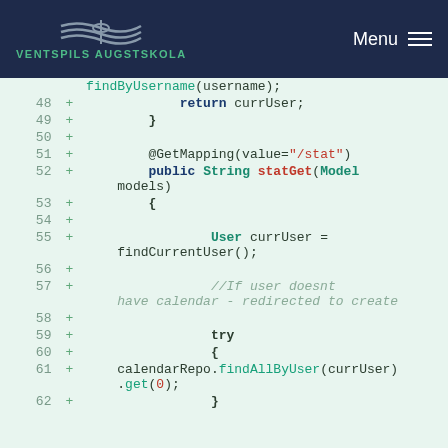Ventspils Augstskola | Menu
[Figure (screenshot): Code diff view showing Java Spring controller methods, lines 48-62, with green background indicating added lines. Code shows findByUsername call, return currUser, closing brace, @GetMapping annotation for /stat, statGet method with Model parameter, findCurrentUser call, comment about calendar redirect, try block, and calendarRepo.findAllByUser call.]